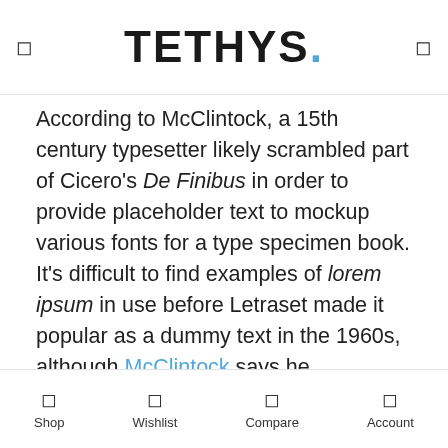TETHYS.
According to McClintock, a 15th century typesetter likely scrambled part of Cicero's De Finibus in order to provide placeholder text to mockup various fonts for a type specimen book. It's difficult to find examples of lorem ipsum in use before Letraset made it popular as a dummy text in the 1960s, although McClintock says he remembers coming across the lorem ipsum passage in a book of old metal type samples. So far he hasn't relocated where he once saw the passage, but the popularity of Cicero in the 15th century supports the theory that the filler text has been used for centuries.
Remixing a Classics Interpreting Nonsense
Shop  Wishlist  Compare  Account